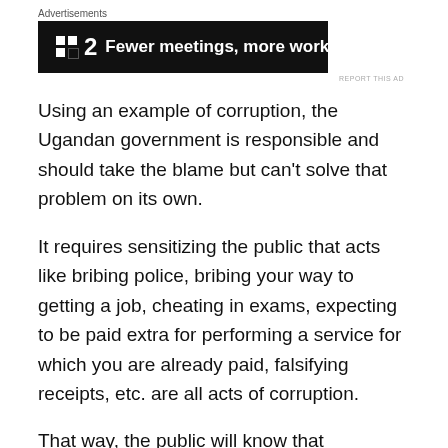[Figure (other): Advertisement banner: black background with two small white squares icon, bold number '2', and text 'Fewer meetings, more work.']
Using an example of corruption, the Ugandan government is responsible and should take the blame but can't solve that problem on its own.
It requires sensitizing the public that acts like bribing police, bribing your way to getting a job, cheating in exams, expecting to be paid extra for performing a service for which you are already paid, falsifying receipts, etc. are all acts of corruption.
That way, the public will know that corruption starts with me.